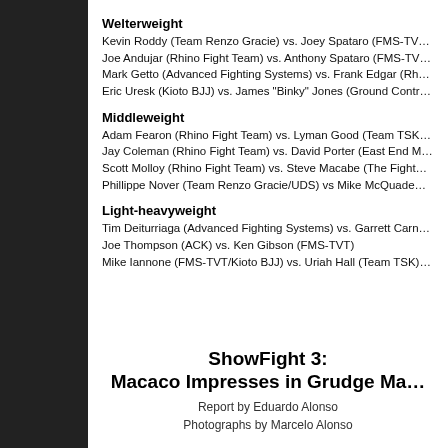Welterweight
Kevin Roddy (Team Renzo Gracie) vs. Joey Spataro (FMS-TV…
Joe Andujar (Rhino Fight Team) vs. Anthony Spataro (FMS-TV…
Mark Getto (Advanced Fighting Systems) vs. Frank Edgar (Rh…
Eric Uresk (Kioto BJJ) vs. James "Binky" Jones (Ground Contr…
Middleweight
Adam Fearon (Rhino Fight Team) vs. Lyman Good (Team TSK…
Jay Coleman (Rhino Fight Team) vs. David Porter (East End M…
Scott Molloy (Rhino Fight Team) vs. Steve Macabe (The Fight…
Phillippe Nover (Team Renzo Gracie/UDS) vs Mike McQuade…
Light-heavyweight
Tim Deiturriaga (Advanced Fighting Systems) vs. Garrett Carn…
Joe Thompson (ACK) vs. Ken Gibson (FMS-TVT)
Mike Iannone (FMS-TVT/Kioto BJJ) vs. Uriah Hall (Team TSK)…
ShowFight 3: Macaco Impresses in Grudge Ma…
Report by Eduardo Alonso
Photographs by Marcelo Alonso